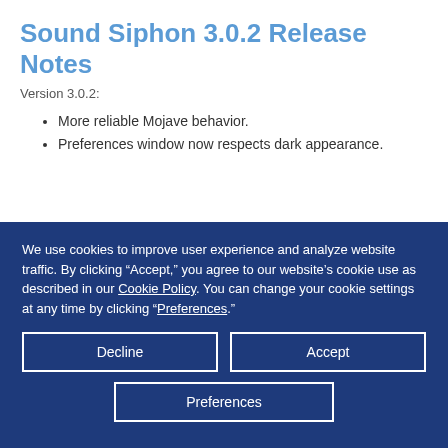Sound Siphon 3.0.2 Release Notes
Version 3.0.2:
More reliable Mojave behavior.
Preferences window now respects dark appearance.
We use cookies to improve user experience and analyze website traffic. By clicking “Accept,” you agree to our website’s cookie use as described in our Cookie Policy. You can change your cookie settings at any time by clicking “Preferences.”